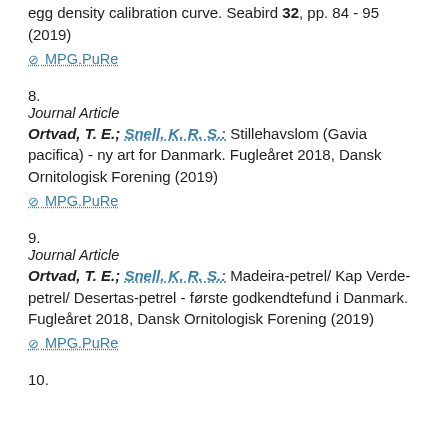egg density calibration curve. Seabird 32, pp. 84 - 95 (2019)
⊘ MPG.PuRe
8.
Journal Article
Ortvad, T. E.; Snell, K. R. S.: Stillehavslom (Gavia pacifica) - ny art for Danmark. Fugleåret 2018, Dansk Ornitologisk Forening (2019)
⊘ MPG.PuRe
9.
Journal Article
Ortvad, T. E.; Snell, K. R. S.: Madeira-petrel/ Kap Verde-petrel/ Desertas-petrel - første godkendtefund i Danmark. Fugleåret 2018, Dansk Ornitologisk Forening (2019)
⊘ MPG.PuRe
10.